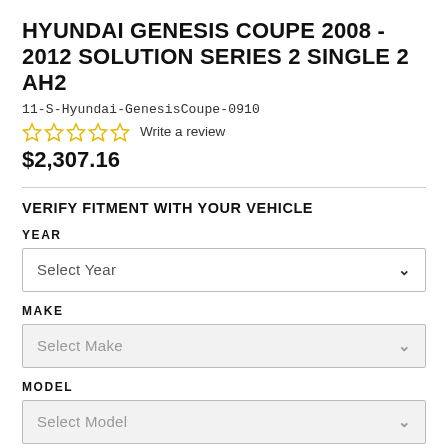HYUNDAI GENESIS COUPE 2008 - 2012 SOLUTION SERIES 2 SINGLE 2 AH2
11-S-Hyundai-GenesisCoupe-0910
☆☆☆☆☆  Write a review
$2,307.16
VERIFY FITMENT WITH YOUR VEHICLE
YEAR
Select Year
MAKE
Select Make
MODEL
Select Model